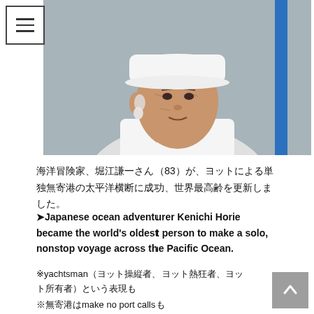[Figure (photo): Elderly Japanese man wearing a white cap and white jacket, photographed outdoors against a blurred background with a blue vertical element.]
海洋冒険家、堀江謙一さん（83）が、ヨットによる単独無寄港の太平洋横断に成功、世界最高齢を更新しました。
➤Japanese ocean adventurer Kenichi Horie became the world's oldest person to make a solo, nonstop voyage across the Pacific Ocean.
※yachtsman（ヨット操縦者、ヨット熱狂者、ヨット所有者）という表現も
※無寄港はmake no port callsも